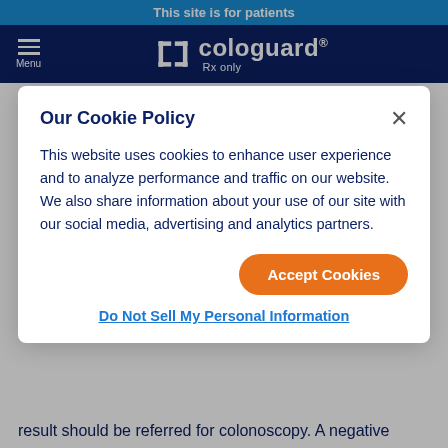This site is for patients
[Figure (logo): Cologuard logo with bracket icon, white text on dark navy background, with 'Rx only' subtitle]
age and older who are at average risk for colorectal cancer by detecting certain DNA markers and blood
Our Cookie Policy
This website uses cookies to enhance user experience and to analyze performance and traffic on our website. We also share information about your use of our site with our social media, advertising and analytics partners.
Accept Cookies
Do Not Sell My Personal Information
result should be referred for colonoscopy. A negative